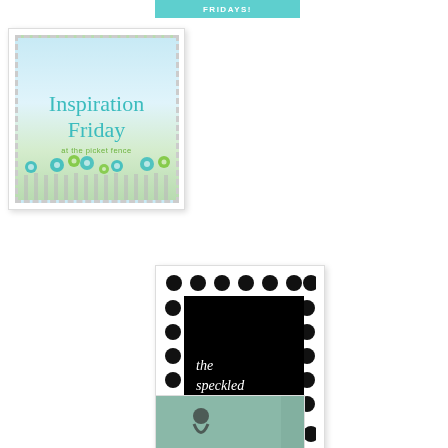[Figure (logo): Teal banner with bold white text reading FRIDAYS!]
[Figure (illustration): Inspiration Friday at the Picket Fence stamp/badge with teal serif text on light blue/green floral background inside dashed border]
[Figure (logo): The Speckled Dog logo: black square with white italic serif text on polka dot border white background]
[Figure (illustration): Partial bottom image showing green/teal background with silhouette figure, partially cropped]